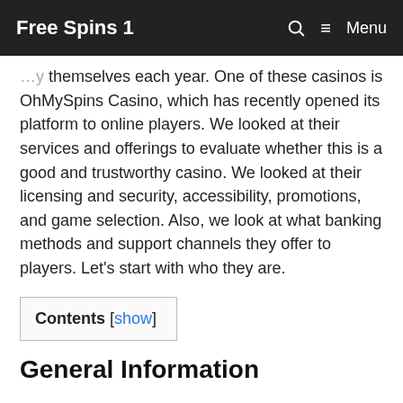Free Spins 1  🔍  ≡ Menu
themselves each year. One of these casinos is OhMySpins Casino, which has recently opened its platform to online players. We looked at their services and offerings to evaluate whether this is a good and trustworthy casino. We looked at their licensing and security, accessibility, promotions, and game selection. Also, we look at what banking methods and support channels they offer to players. Let's start with who they are.
Contents [show]
General Information